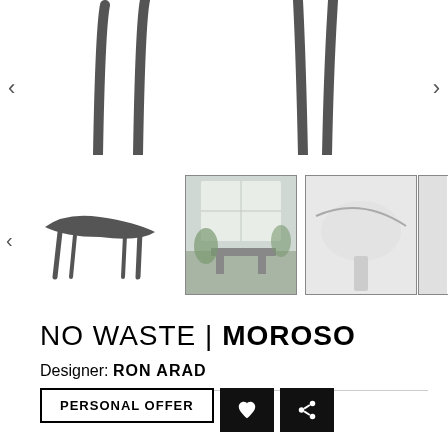[Figure (photo): Top portion of a designer table/bench with dark curved legs visible, shown in main product view with left and right navigation arrows]
[Figure (photo): Thumbnail row showing: (1) small image of dark curved bench/table, (2) room setting with furniture, (3) close-up detail of table surface, (4) partial fourth image; navigation arrows on left and right]
NO WASTE | MOROSO
Designer: RON ARAD
PERSONAL OFFER